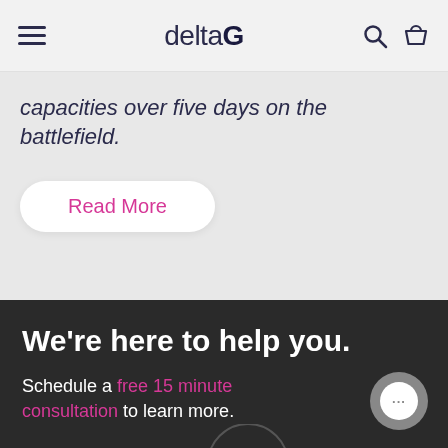deltaG
capacities over five days on the battlefield.
Read More
We're here to help you.
Schedule a free 15 minute consultation to learn more.